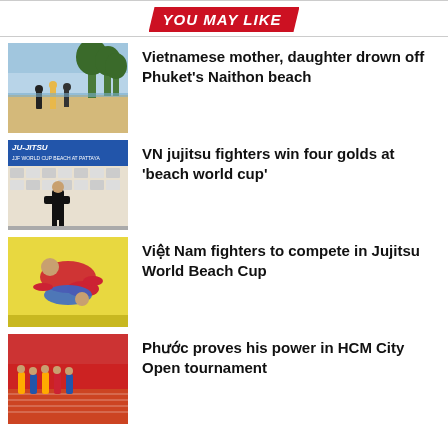YOU MAY LIKE
Vietnamese mother, daughter drown off Phuket’s Naithon beach
VN jujitsu fighters win four golds at ‘beach world cup’
Việt Nam fighters to compete in Jujitsu World Beach Cup
Phước proves his power in HCM City Open tournament